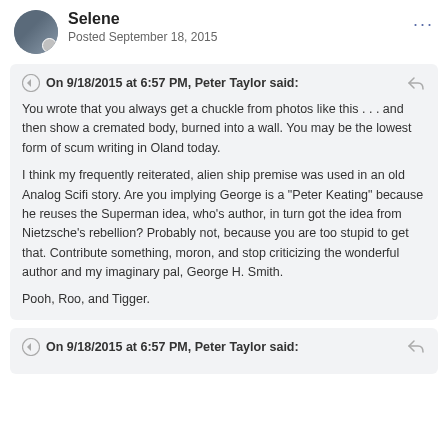Selene
Posted September 18, 2015
On 9/18/2015 at 6:57 PM, Peter Taylor said:

You wrote that you always get a chuckle from photos like this . . . and then show a cremated body, burned into a wall. You may be the lowest form of scum writing in Oland today.

I think my frequently reiterated, alien ship premise was used in an old Analog Scifi story. Are you implying George is a "Peter Keating" because he reuses the Superman idea, who's author, in turn got the idea from Nietzsche's rebellion? Probably not, because you are too stupid to get that. Contribute something, moron, and stop criticizing the wonderful author and my imaginary pal, George H. Smith.

Pooh, Roo, and Tigger.
On 9/18/2015 at 6:57 PM, Peter Taylor said: